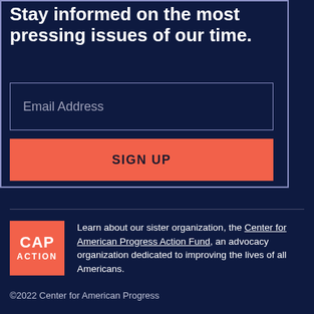Stay informed on the most pressing issues of our time.
Email Address
SIGN UP
Learn about our sister organization, the Center for American Progress Action Fund, an advocacy organization dedicated to improving the lives of all Americans.
©2022 Center for American Progress